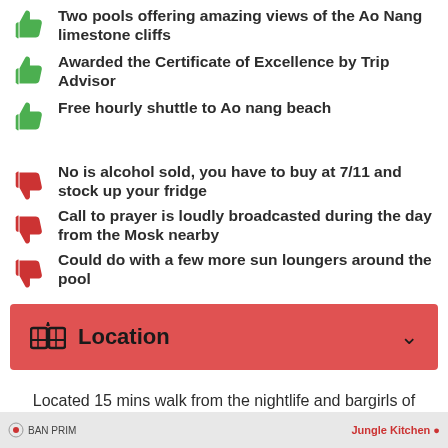Two pools offering amazing views of the Ao Nang limestone cliffs
Awarded the Certificate of Excellence by Trip Advisor
Free hourly shuttle to Ao nang beach
No is alcohol sold, you have to buy at 7/11 and stock up your fridge
Call to prayer is loudly broadcasted during the day from the Mosk nearby
Could do with a few more sun loungers around the pool
Location
Located 15 mins walk from the nightlife and bargirls of Soi RCA Entertainment
Jungle Kitchen